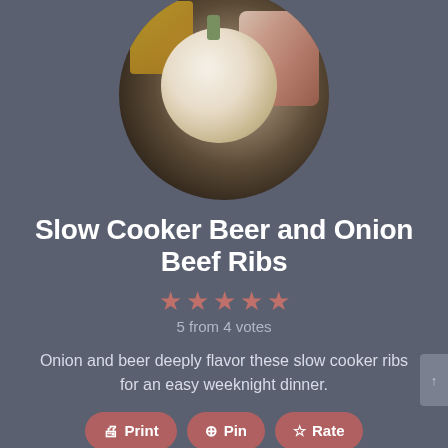[Figure (photo): Circular cropped photo showing ingredients: a white onion, a box of seasoning mix, and raw beef ribs on a dark background.]
Slow Cooker Beer and Onion Beef Ribs
5 from 4 votes
Onion and beer deeply flavor these slow cooker ribs for an easy weeknight dinner.
Print  Pin  Rate
Share by Text
Course: Main Course    Cuisine: American
Prep Time: 15 minutes